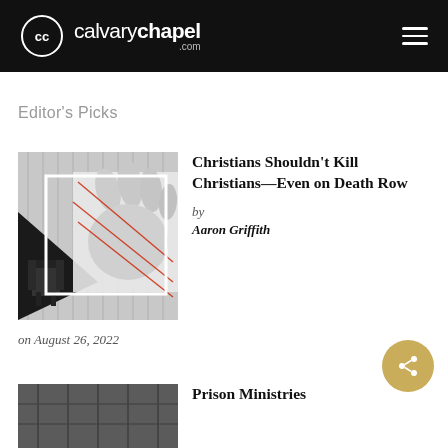calvary chapel .com
Editor's Picks
[Figure (photo): Black and white composite image showing an electric chair and close-up hands with red lines]
Christians Shouldn't Kill Christians—Even on Death Row
by
Aaron Griffith
on August 26, 2022
[Figure (photo): Partial image of a prison or industrial building interior]
Prison Ministries